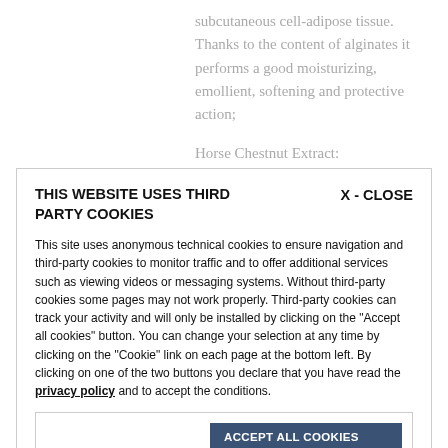subcutaneous cell-adipose tissue. Thanks to the content of alginates it performs a good moisturizing, emollient, softening and protective action;
Horse Chestnut Extract: Vasoprotective properties, anti-inflammatory and
THIS WEBSITE USES THIRD PARTY COOKIES
X - CLOSE
This site uses anonymous technical cookies to ensure navigation and third-party cookies to monitor traffic and to offer additional services such as viewing videos or messaging systems. Without third-party cookies some pages may not work properly. Third-party cookies can track your activity and will only be installed by clicking on the "Accept all cookies" button. You can change your selection at any time by clicking on the "Cookie" link on each page at the bottom left. By clicking on one of the two buttons you declare that you have read the privacy policy and to accept the conditions.
More information
ACCEPT ALL COOKIES
ONLY TECHNICAL COOKIES
skin elasticity,